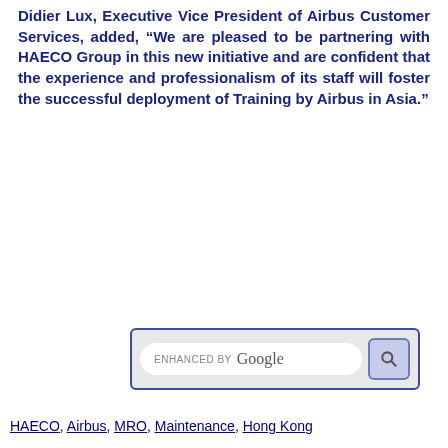Didier Lux, Executive Vice President of Airbus Customer Services, added, “We are pleased to be partnering with HAECO Group in this new initiative and are confident that the experience and professionalism of its staff will foster the successful deployment of Training by Airbus in Asia.”
[Figure (screenshot): Google search bar with 'ENHANCED BY Google' text and a search icon button, surrounded by a dark blue border]
HAECO, Airbus, MRO, Maintenance, Hong Kong
[Figure (screenshot): Social media sharing icons in two rows: star/bookmark, print, email, Pinterest, Skype, Paw/Baidu, RSS, Line (top row); WeChat, LinkedIn, Facebook, Messenger, Telegram, WhatsApp, Twitter x2 (bottom row)]
[Figure (photo): Sky photo with clouds and a faint rainbow arc visible]